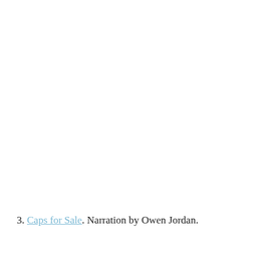3. Caps for Sale. Narration by Owen Jordan.